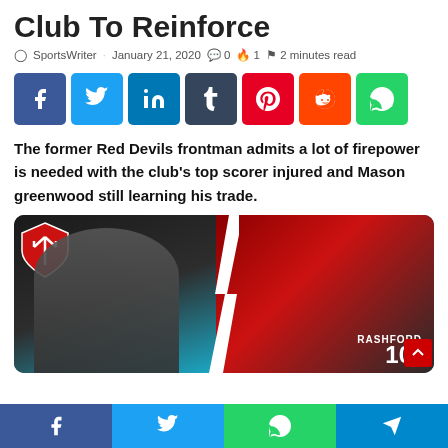Club To Reinforce
SportsWriter · January 21, 2020 · 0 · 1 · 2 minutes read
[Figure (infographic): Social sharing buttons: Facebook, Twitter, LinkedIn, Tumblr, Pinterest, Reddit, WhatsApp]
The former Red Devils frontman admits a lot of firepower is needed with the club's top scorer injured and Mason greenwood still learning his trade.
[Figure (photo): Split image: left side shows a man in grey blazer (Robin van Persie) in TV studio with red shield/trident logo; right side shows Marcus Rashford in Manchester United red shirt number 10]
Facebook · Twitter · WhatsApp · Telegram